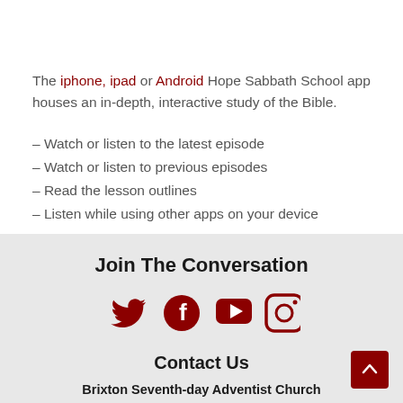The iphone, ipad or Android Hope Sabbath School app houses an in-depth, interactive study of the Bible.
– Watch or listen to the latest episode
– Watch or listen to previous episodes
– Read the lesson outlines
– Listen while using other apps on your device
Join The Conversation
[Figure (infographic): Social media icons: Twitter (bird), Facebook (f), YouTube (play button), Instagram (camera) — all in dark red]
Contact Us
Brixton Seventh-day Adventist Church